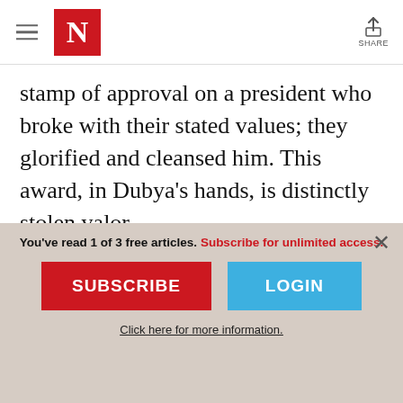The Nation — Navigation and Share header
stamp of approval on a president who broke with their stated values; they glorified and cleansed him. This award, in Dubya's hands, is distinctly stolen valor.

There are many Americans who exemplify the very best of what our country—and West Point—could be. As graduates of the academy, none of us should have difficulty finding
You've read 1 of 3 free articles. Subscribe for unlimited access.
SUBSCRIBE
LOGIN
Click here for more information.